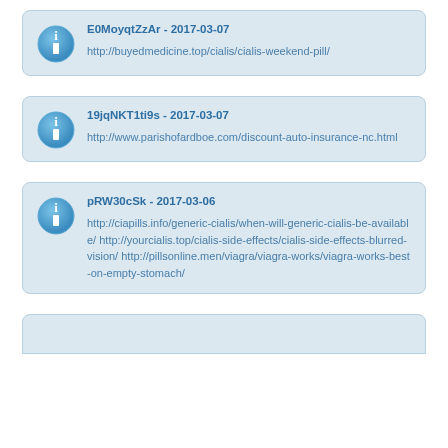E0MoyqtZzAr - 2017-03-07
http://buyedmedicine.top/cialis/cialis-weekend-pill/
19jqNKT1ti9s - 2017-03-07
http://www.parishofardboe.com/discount-auto-insurance-nc.html
pRW30cSk - 2017-03-06
http://ciapills.info/generic-cialis/when-will-generic-cialis-be-available/ http://yourcialis.top/cialis-side-effects/cialis-side-effects-blurred-vision/ http://pillsonline.men/viagra/viagra-works/viagra-works-best-on-empty-stomach/